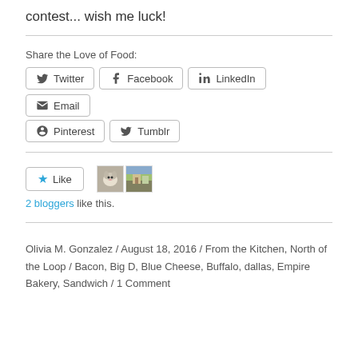contest... wish me luck!
Share the Love of Food:
[Figure (infographic): Social sharing buttons: Twitter, Facebook, LinkedIn, Email, Pinterest, Tumblr]
[Figure (infographic): Like button with star icon, and two blogger avatar thumbnails. Below: '2 bloggers like this.']
Olivia M. Gonzalez / August 18, 2016 / From the Kitchen, North of the Loop / Bacon, Big D, Blue Cheese, Buffalo, dallas, Empire Bakery, Sandwich / 1 Comment